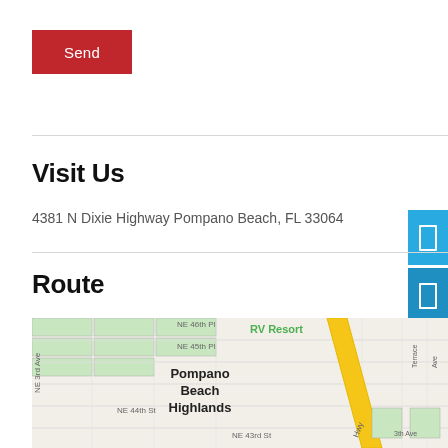Send
Visit Us
4381 N Dixie Highway Pompano Beach, FL 33064
Route
[Figure (map): Street map showing Pompano Beach Highlands area near NE 43rd St, NE 44th St, NE 45th Pl, NE 46th Pl, with RV Resort label and a yellow highway (Hwy) running diagonally, NE 3rd Ave on left side, Terrace and Ave labels on right side.]